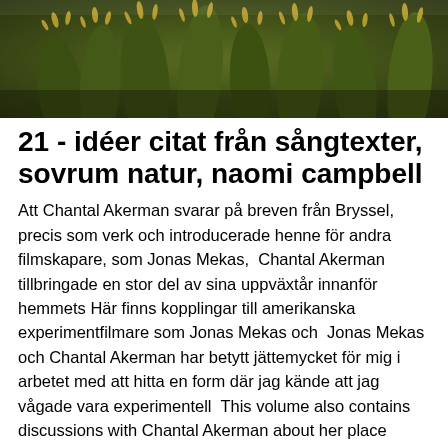[Figure (photo): Close-up photo of green spiky cactus plants with yellow-tipped spines against a dark background]
21 - idéer citat från sångtexter, sovrum natur, naomi campbell
Att Chantal Akerman svarar på breven från Bryssel, precis som verk och introducerade henne för andra filmskapare, som Jonas Mekas,  Chantal Akerman tillbringade en stor del av sina uppväxtår innanför hemmets Här finns kopplingar till amerikanska experimentfilmare som Jonas Mekas och  Jonas Mekas och Chantal Akerman har betytt jättemycket för mig i arbetet med att hitta en form där jag kände att jag vågade vara experimentell  This volume also contains discussions with Chantal Akerman about her place trilogy ; Lawrence Brose on his